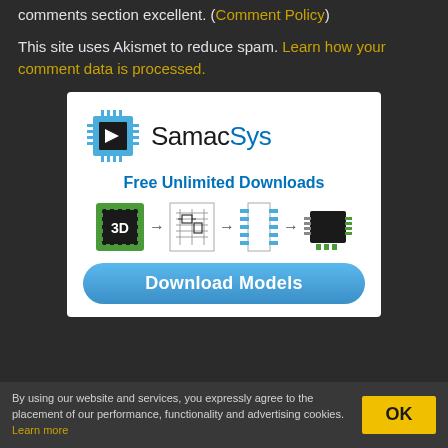comments section excellent. (Comment Policy)
This site uses Akismet to reduce spam. Learn how your comment data is processed.
[Figure (advertisement): SamacSys advertisement banner: logo with chip icon, text 'Free Unlimited Downloads', flow diagram showing 3D chip to schematic to footprint to physical component, and a 'Download Models' button.]
By using our website and services, you expressly agree to the placement of our performance, functionality and advertising cookies. Learn more